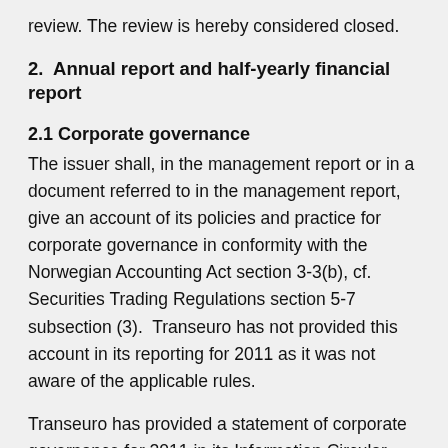review. The review is hereby considered closed.
2.  Annual report and half-yearly financial report
2.1 Corporate governance
The issuer shall, in the management report or in a document referred to in the management report, give an account of its policies and practice for corporate governance in conformity with the Norwegian Accounting Act section 3-3(b), cf. Securities Trading Regulations section 5-7 subsection (3).  Transeuro has not provided this account in its reporting for 2011 as it was not aware of the applicable rules.
Transeuro has provided a statement of corporate governance for 2011 in its Information Circular that is mailed to the Company's shareholders each year in